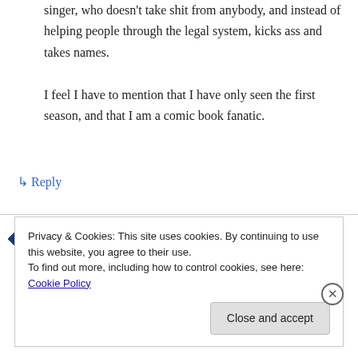singer, who doesn't take shit from anybody, and instead of helping people through the legal system, kicks ass and takes names.

I feel I have to mention that I have only seen the first season, and that I am a comic book fanatic.
↳ Reply
dregj on August 30, 2016 at 7:17 pm
i started to get seriously worried when the arrow
Privacy & Cookies: This site uses cookies. By continuing to use this website, you agree to their use.
To find out more, including how to control cookies, see here: Cookie Policy
Close and accept